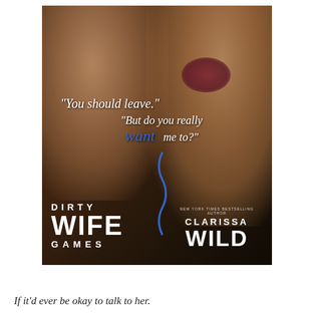[Figure (illustration): Book cover for 'Dirty Wife Games' by Clarissa Wild (New York Times Bestselling Author). Dark moody photo of two people in an intimate pose against a dark background. Text overlay includes quotes: '"You should leave."' and '"But do you really want me to?"' with 'want' in blue cursive. Bottom left shows title 'DIRTY WIFE GAMES' in white bold text, bottom right shows author name 'CLARISSA WILD' with 'NEW YORK TIMES BESTSELLING AUTHOR' above.]
If it'd ever be okay to talk to her.